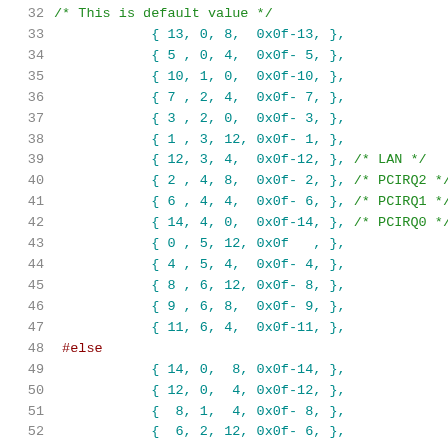Source code listing lines 32-52 showing interrupt routing table data with #else preprocessor directive
32   /* This is default value */
33       { 13, 0, 8,  0x0f-13, },
34       { 5 , 0, 4,  0x0f- 5, },
35       { 10, 1, 0,  0x0f-10, },
36       { 7 , 2, 4,  0x0f- 7, },
37       { 3 , 2, 0,  0x0f- 3, },
38       { 1 , 3, 12, 0x0f- 1, },
39       { 12, 3, 4,  0x0f-12, }, /* LAN */
40       { 2 , 4, 8,  0x0f- 2, }, /* PCIRQ2 */
41       { 6 , 4, 4,  0x0f- 6, }, /* PCIRQ1 */
42       { 14, 4, 0,  0x0f-14, }, /* PCIRQ0 */
43       { 0 , 5, 12, 0x0f   , },
44       { 4 , 5, 4,  0x0f- 4, },
45       { 8 , 6, 12, 0x0f- 8, },
46       { 9 , 6, 8,  0x0f- 9, },
47       { 11, 6, 4,  0x0f-11, },
48 #else
49       { 14, 0,  8, 0x0f-14, },
50       { 12, 0,  4, 0x0f-12, },
51       {  8, 1,  4, 0x0f- 8, },
52       {  6, 2, 12, 0x0f- 6, },